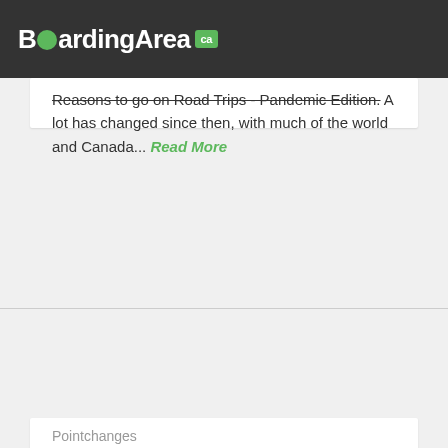BoardingArea .ca
Reasons to go on Road Trips - Pandemic Edition. A lot has changed since then, with much of the world and Canada... Read More
Pointchanges